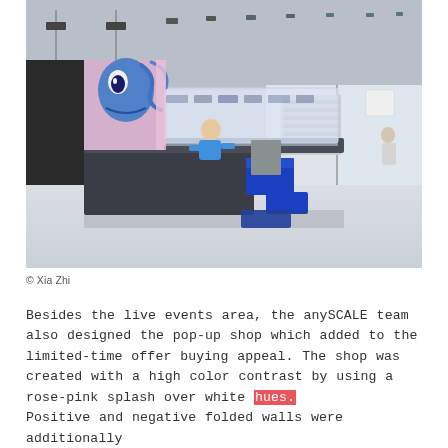[Figure (photo): Interior of a modern retail pop-up shop showing a dark counter/display unit with a colorful animated mural backdrop on the left, blue seating elements, a worker behind the counter, and an open retail space with product displays and large glass windows in the background.]
© Xia Zhi
Besides the live events area, the anySCALE team also designed the pop-up shop which added to the limited-time offer buying appeal. The shop was created with a high color contrast by using a rose-pink splash over white hues. Positive and negative folded walls were additionally